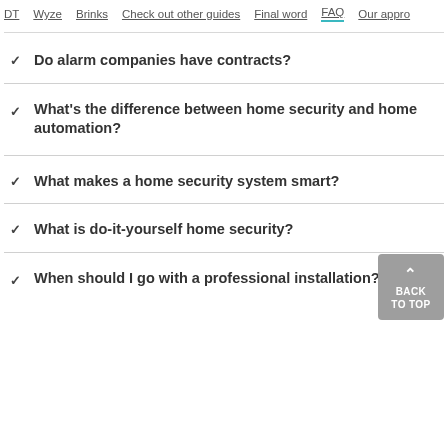DT  Wyze  Brinks  Check out other guides  Final word  FAQ  Our appro
Do alarm companies have contracts?
What's the difference between home security and home automation?
What makes a home security system smart?
What is do-it-yourself home security?
When should I go with a professional installation?